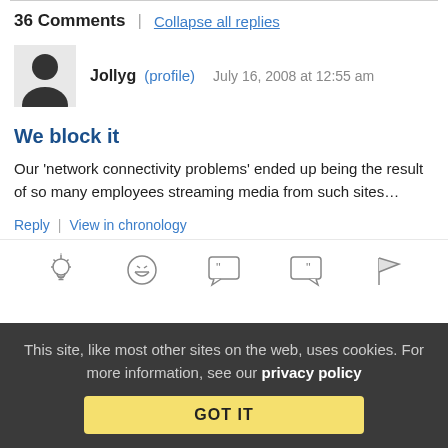36 Comments | Collapse all replies
Jollyg (profile) July 16, 2008 at 12:55 am
We block it
Our 'network connectivity problems' ended up being the result of so many employees streaming media from such sites…
Reply | View in chronology
[Figure (illustration): Row of five icon buttons: lightbulb, laughing face, open quote bubble, close quote bubble, flag]
This site, like most other sites on the web, uses cookies. For more information, see our privacy policy
GOT IT